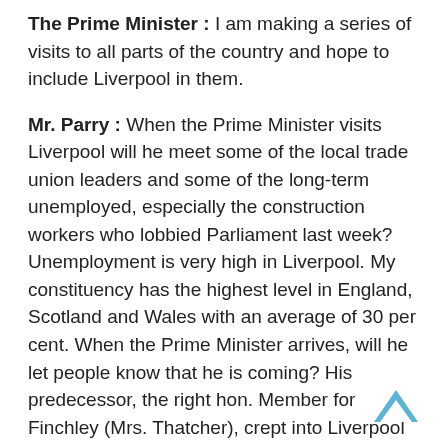The Prime Minister : I am making a series of visits to all parts of the country and hope to include Liverpool in them.
Mr. Parry : When the Prime Minister visits Liverpool will he meet some of the local trade union leaders and some of the long-term unemployed, especially the construction workers who lobbied Parliament last week? Unemployment is very high in Liverpool. My constituency has the highest level in England, Scotland and Wales with an average of 30 per cent. When the Prime Minister arrives, will he let people know that he is coming? His predecessor, the right hon. Member for Finchley (Mrs. Thatcher), crept into Liverpool and crept out again without letting people know that she was coming. That was an insult to the people of Liverpool and I hope that it